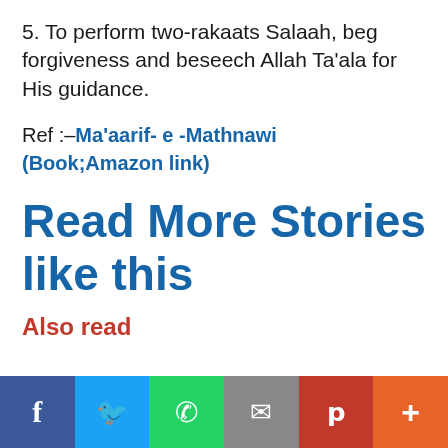5. To perform two-rakaats Salaah, beg forgiveness and beseech Allah Ta'ala for His guidance.
Ref :– Ma'aarif- e -Mathnawi (Book;Amazon link)
Read More Stories like this
Also read
[Figure (infographic): Social media sharing bar with icons for Facebook (dark blue), Twitter (light blue), WhatsApp (green), Email (grey), Pinterest (red), and a plus button (orange-red).]